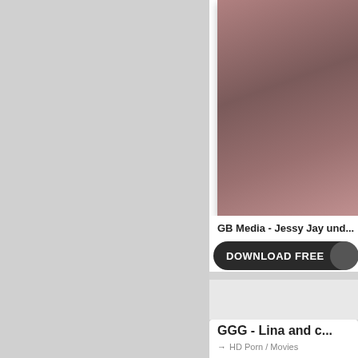[Figure (photo): Blurred/obscured thumbnail image with brownish-pink tones in the upper right card area]
GB Media - Jessy Jay und...
DOWNLOAD FREE
GGG - Lina and c...
→ HD Porn / Movies